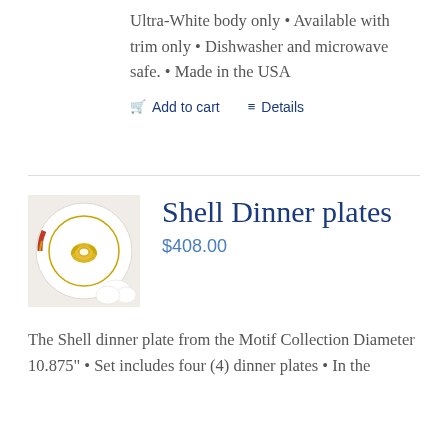Ultra-White body only • Available with trim only • Dishwasher and microwave safe. • Made in the USA
Add to cart   Details
Shell Dinner plates
$408.00
[Figure (photo): A white dinner plate with a gold shell motif crest in the center, with red and gold trim visible at the edge, placed next to white decorative items.]
The Shell dinner plate from the Motif Collection Diameter 10.875" • Set includes four (4) dinner plates • In the